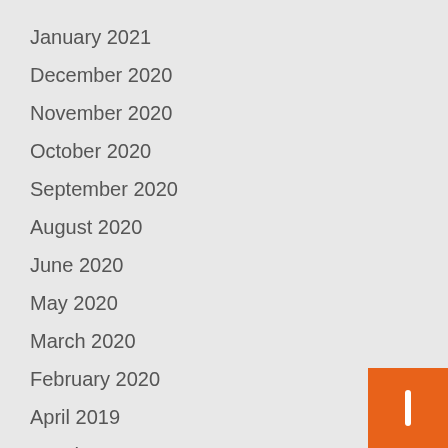January 2021
December 2020
November 2020
October 2020
September 2020
August 2020
June 2020
May 2020
March 2020
February 2020
April 2019
March 2019